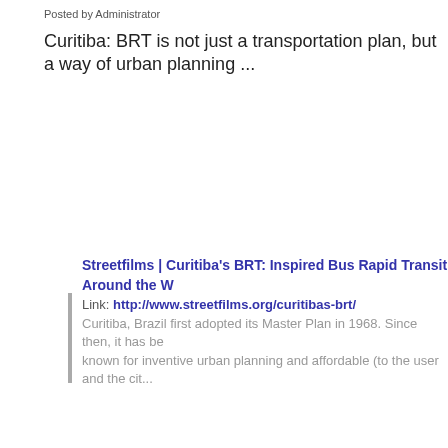Posted by Administrator
Curitiba: BRT is not just a transportation plan, but a way of urban planning ...
Streetfilms | Curitiba's BRT: Inspired Bus Rapid Transit Around the W
Link: http://www.streetfilms.org/curitibas-brt/
Curitiba, Brazil first adopted its Master Plan in 1968. Since then, it has been known for inventive urban planning and affordable (to the user and the city) ...